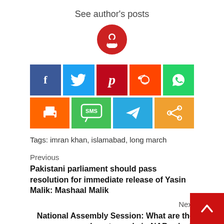See author's posts
[Figure (other): Round red avatar icon with heart/person symbol]
[Figure (infographic): Social share buttons grid: Facebook, Twitter, Pinterest, Reddit, WhatsApp (row 1); Print, SMS, Telegram, Share (row 2)]
Tags: imran khan, islamabad, long march
Previous
Pakistani parliament should pass resolution for immediate release of Yasin Malik: Mashaal Malik
Next
National Assembly Session: What are the amendments made in NAB rules?